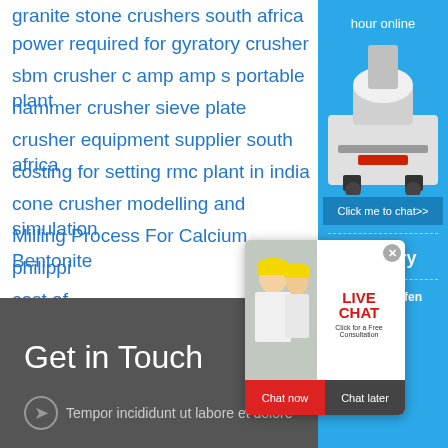granite stone crushers south africa
power required for gyratory crusher
sbm crusher c amp amp s portable plant
hammer crusher sieve plate
crusher equipment supplier south africa
costing for setting rmc plant in india
cone crusher modelling and simulation
Milling Process For Calcium Bentonite
philippi...
cost of ...
Metal C...
drosky ...
herbst ...
[Figure (screenshot): Live chat popup overlay with workers in hard hats, LIVE CHAT heading in red, Click for a Free Consultation subtitle, Chat now (red) and Chat later (dark) buttons]
Get in Touch
Tempor incididunt ut labore et dolore
[Figure (screenshot): Blue right sidebar showing: hour online text, cone crusher machine image, Click me to chat>> button, Enquiry section, limingjlmofen brand text]